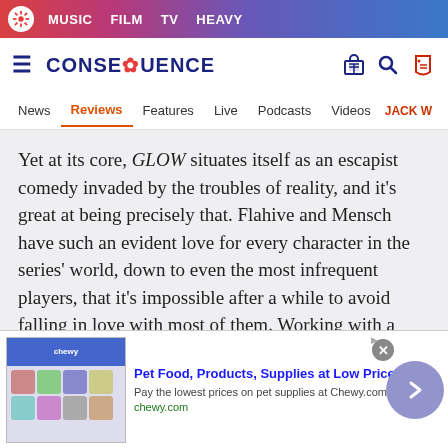[Figure (screenshot): Top navigation banner with music/film/TV/heavy site logo and nav links on gradient background]
CONSEQUENCE — MUSIC FILM TV HEAVY — News Reviews Features Live Podcasts Videos JACK W
Yet at its core, GLOW situates itself as an escapist comedy invaded by the troubles of reality, and it's great at being precisely that. Flahive and Mensch have such an evident love for every character in the series' world, down to even the most infrequent players, that it's impossible after a while to avoid falling in love with most of them. Working with a clearly bigger budget this time around, the show
[Figure (screenshot): Advertisement banner for Chewy.com: Pet Food, Products, Supplies at Low Prices. Shows product images on left, ad text in center, close button, and arrow navigation button.]